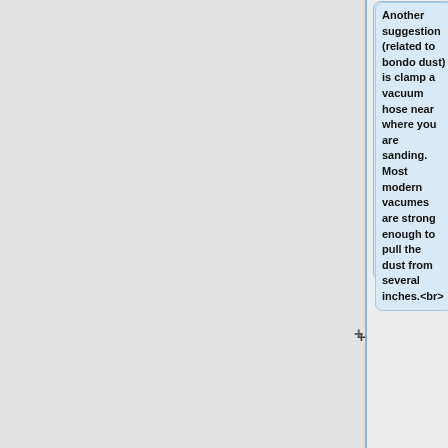Another suggestion (related to bondo dust) is clamp a vacuum hose near where you are sanding. Most modern vacumes are strong enough to pull the dust from several inches.<br>
Hey...do what works, right?!? <br>
Update... Recently I have started removing the